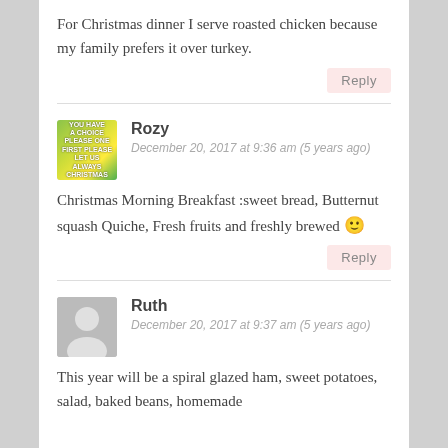For Christmas dinner I serve roasted chicken because my family prefers it over turkey.
Reply
Rozy
December 20, 2017 at 9:36 am (5 years ago)
Christmas Morning Breakfast :sweet bread, Butternut squash Quiche, Fresh fruits and freshly brewed 🙂
Reply
[Figure (photo): Avatar image for Rozy — colorful green/yellow gradient text image]
Ruth
December 20, 2017 at 9:37 am (5 years ago)
[Figure (illustration): Default grey avatar silhouette for Ruth]
This year will be a spiral glazed ham, sweet potatoes, salad, baked beans, homemade